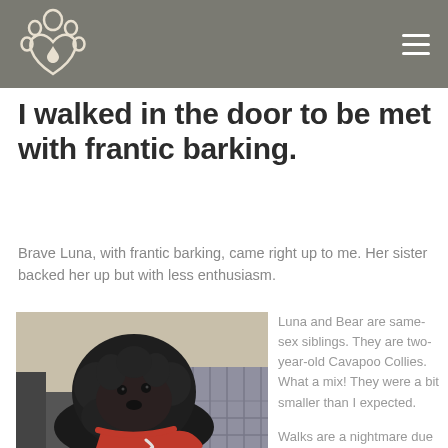I walked in the door to be met with frantic barking.
Brave Luna, with frantic barking, came right up to me. Her sister backed her up but with less enthusiasm.
[Figure (photo): A black fluffy dog (Cavapoo Collie) wearing a red collar/leash, sitting on furniture indoors.]
Luna and Bear are same-sex siblings. They are two-year-old Cavapoo Collies. What a mix! They were a bit smaller than I expected.

Walks are a nightmare due to the dogs' reactivity to